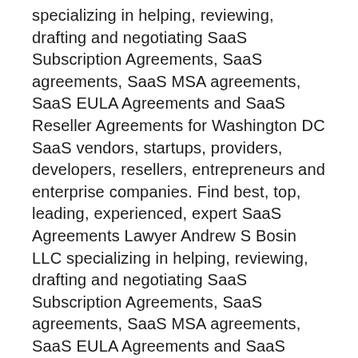specializing in helping, reviewing, drafting and negotiating SaaS Subscription Agreements, SaaS agreements, SaaS MSA agreements, SaaS EULA Agreements and SaaS Reseller Agreements for Washington DC SaaS vendors, startups, providers, developers, resellers, entrepreneurs and enterprise companies. Find best, top, leading, experienced, expert SaaS Agreements Lawyer Andrew S Bosin LLC specializing in helping, reviewing, drafting and negotiating SaaS Subscription Agreements, SaaS agreements, SaaS MSA agreements, SaaS EULA Agreements and SaaS Reseller Agreements for Connecticut SaaS vendors, startups, providers, developers, resellers, entrepreneurs and enterprise companies. Find best, top, leading, experienced, expert SaaS Agreements Lawyer Andrew S Bosin LLC specializing in helping, reviewing, drafting and negotiating SaaS Subscription Agreements, SaaS agreements, SaaS MSA agreements, SaaS EULA Agreements and SaaS Reseller Agreements for Minnesota SaaS vendors, startups, providers, developers,